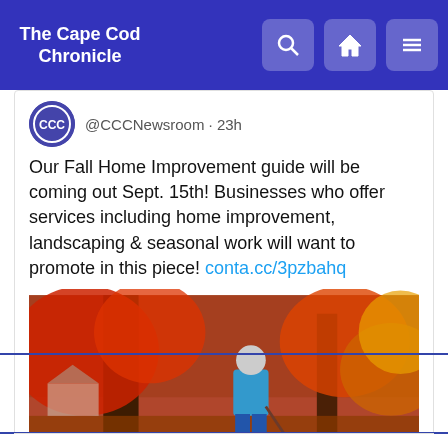The Cape Cod Chronicle
@CCCNewsroom · 23h
Our Fall Home Improvement guide will be coming out Sept. 15th! Businesses who offer services including home improvement, landscaping & seasonal work will want to promote in this piece! conta.cc/3pzbahq
[Figure (photo): Elderly man in blue shirt and blue pants raking fallen autumn leaves in a yard with red-leafed trees in the background]